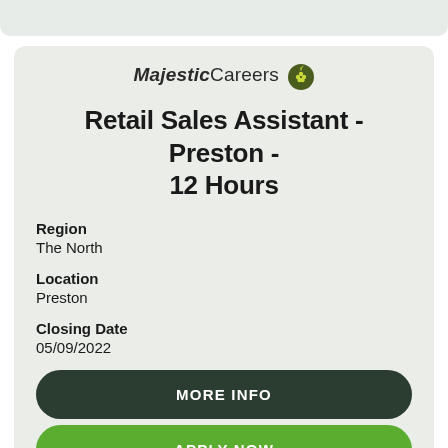[Figure (logo): MajesticCareers logo with grape/hop icon]
Retail Sales Assistant - Preston - 12 Hours
Region
The North
Location
Preston
Closing Date
05/09/2022
MORE INFO
APPLY NOW